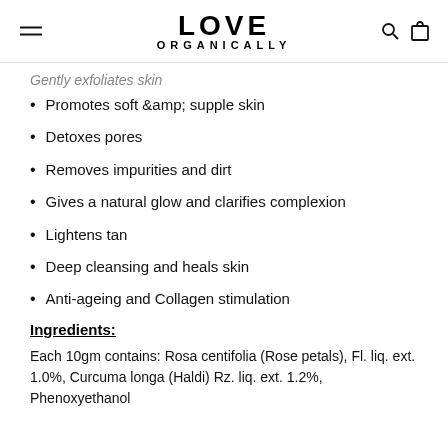LOVE ORGANICALLY
Gently exfoliates skin
Promotes soft &amp; supple skin
Detoxes pores
Removes impurities and dirt
Gives a natural glow and clarifies complexion
Lightens tan
Deep cleansing and heals skin
Anti-ageing and Collagen stimulation
Ingredients:
Each 10gm contains: Rosa centifolia (Rose petals), Fl. liq. ext. 1.0%, Curcuma longa (Haldi) Rz. liq. ext. 1.2%, Phenoxyethanol